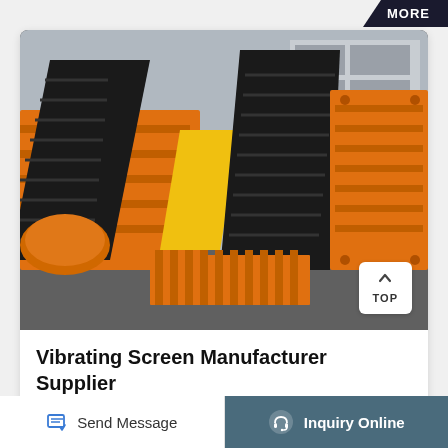MORE
[Figure (photo): Industrial vibrating screen machinery in orange and black colors, stacked components, outdoor industrial setting]
Vibrating Screen Manufacturer Supplier Exporter In India
Send Message
Inquiry Online